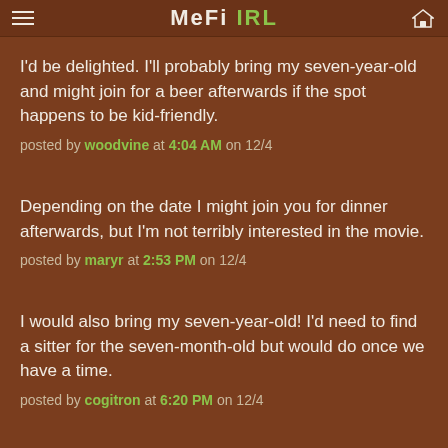MeFi IRL
I'd be delighted. I'll probably bring my seven-year-old and might join for a beer afterwards if the spot happens to be kid-friendly.
posted by woodvine at 4:04 AM on 12/4
Depending on the date I might join you for dinner afterwards, but I'm not terribly interested in the movie.
posted by maryr at 2:53 PM on 12/4
I would also bring my seven-year-old! I'd need to find a sitter for the seven-month-old but would do once we have a time.
posted by cogitron at 6:20 PM on 12/4